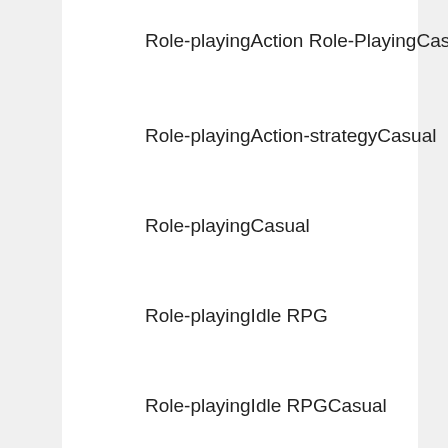Role-playingAction Role-PlayingCasual
Role-playingAction-strategyCasual
Role-playingCasual
Role-playingIdle RPG
Role-playingIdle RPGCasual
Role-playingMMORPG
Role-playingMMORPGCasual
Role-playingPuzzle Role-playingMatch 3 RPGCasual
Role-playingRoguelikeCasual